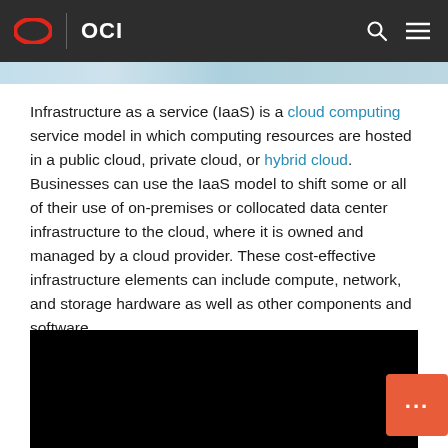OCI
[Figure (screenshot): Partial image/banner visible at top below navigation bar]
Infrastructure as a service (IaaS) is a cloud computing service model in which computing resources are hosted in a public cloud, private cloud, or hybrid cloud. Businesses can use the IaaS model to shift some or all of their use of on-premises or collocated data center infrastructure to the cloud, where it is owned and managed by a cloud provider. These cost-effective infrastructure elements can include compute, network, and storage hardware as well as other components and software.
[Figure (screenshot): Black video/image panel at the bottom of the page with an orange chat button overlay in the bottom-right corner]